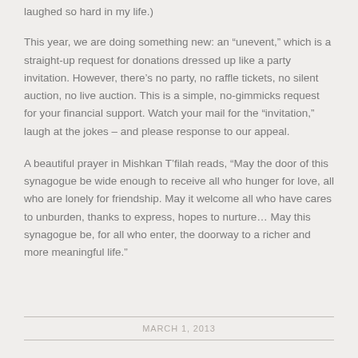laughed so hard in my life.)
This year, we are doing something new: an “unevent,” which is a straight-up request for donations dressed up like a party invitation. However, there’s no party, no raffle tickets, no silent auction, no live auction. This is a simple, no-gimmicks request for your financial support. Watch your mail for the “invitation,” laugh at the jokes – and please response to our appeal.
A beautiful prayer in Mishkan T’filah reads, “May the door of this synagogue be wide enough to receive all who hunger for love, all who are lonely for friendship. May it welcome all who have cares to unburden, thanks to express, hopes to nurture… May this synagogue be, for all who enter, the doorway to a richer and more meaningful life.”
MARCH 1, 2013